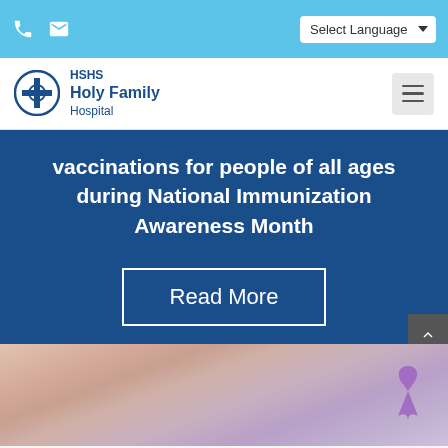Select Language
[Figure (logo): HSHS Holy Family Hospital logo with circular cross icon]
vaccinations for people of all ages during National Immunization Awareness Month
Read More
[Figure (photo): Hands holding a purple awareness ribbon against a lavender background]